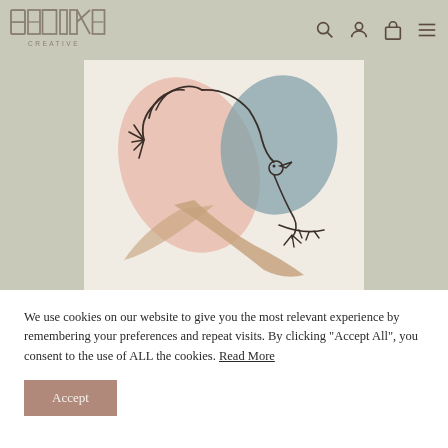[Figure (logo): BETIKE CREATIVE logo in outlined block letters]
[Figure (illustration): Line art illustration of a bird with abstract organic shapes in muted pink, tan, and blue-grey on a cream background]
We use cookies on our website to give you the most relevant experience by remembering your preferences and repeat visits. By clicking "Accept All", you consent to the use of ALL the cookies. Read More
Accept